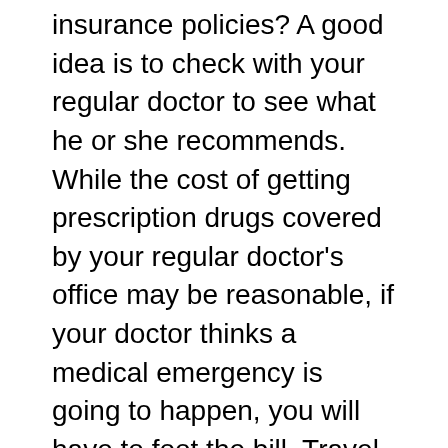insurance policies? A good idea is to check with your regular doctor to see what he or she recommends. While the cost of getting prescription drugs covered by your regular doctor's office may be reasonable, if your doctor thinks a medical emergency is going to happen, you will have to foot the bill. Travel insurance helps to make medical trips more affordable, especially if you already spend a great deal of time in the hospital. Travel insurance also helps to ensure that your prescriptions are covered in case of an emergency, so that you can continue on with your prescribed medication without any worry.

Compare your travel insurance options before deciding on the coverage you want.